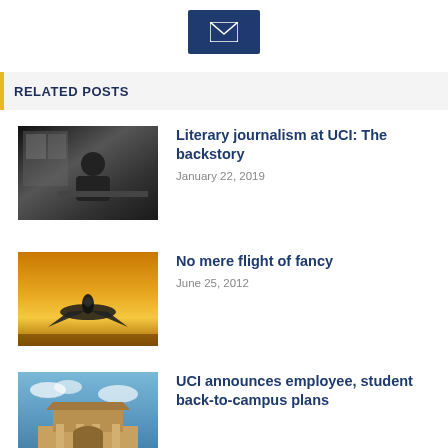[Figure (other): Email/envelope button icon — dark navy blue rectangle button with white envelope icon]
RELATED POSTS
[Figure (photo): Black and white photo of a person sitting at a desk in a room with windows]
Literary journalism at UCI: The backstory
January 22, 2019
[Figure (photo): Photo of an airplane from a low fisheye angle against a golden/yellow sky]
No mere flight of fancy
June 25, 2012
[Figure (photo): Photo of a UCI campus building with distinctive architecture against a blue sky with clouds]
UCI announces employee, student back-to-campus plans